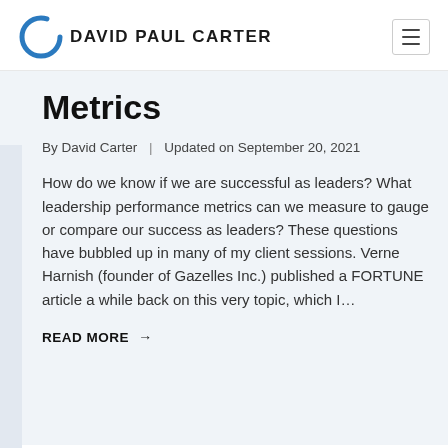DAVID PAUL CARTER
Metrics
By David Carter | Updated on September 20, 2021
How do we know if we are successful as leaders? What leadership performance metrics can we measure to gauge or compare our success as leaders? These questions have bubbled up in many of my client sessions. Verne Harnish (founder of Gazelles Inc.) published a FORTUNE article a while back on this very topic, which I…
READ MORE →